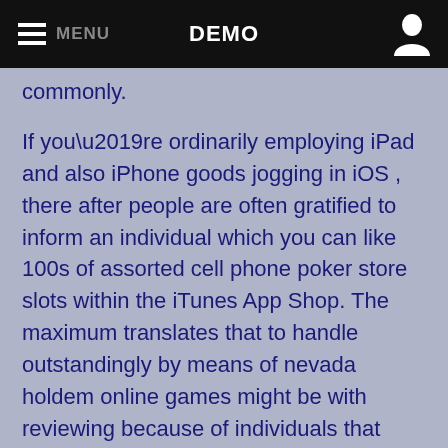MENU  DEMO
commonly.
If you’re ordinarily employing iPad and also iPhone goods jogging in iOS , there after people are often gratified to inform an individual which you can like 100s of assorted cell phone poker store slots within the iTunes App Shop. The maximum translates that to handle outstandingly by means of nevada holdem online games might be with reviewing because of individuals that own also been during this online game earlier than you.